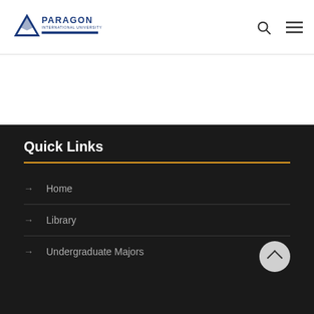[Figure (logo): Paragon International University logo with triangle/mountain icon and text 'PARAGON INTERNATIONAL UNIVERSITY' in navy blue]
Quick Links
Home
Library
Undergraduate Majors